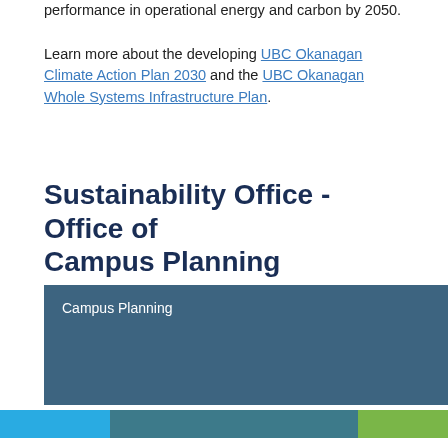performance in operational energy and carbon by 2050.

Learn more about the developing UBC Okanagan Climate Action Plan 2030 and the UBC Okanagan Whole Systems Infrastructure Plan.
Sustainability Office - Office of Campus Planning
Campus Planning
Sustainability Office
Okanagan Campus